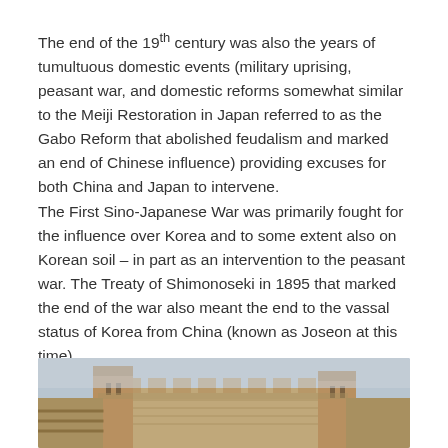The end of the 19th century was also the years of tumultuous domestic events (military uprising, peasant war, and domestic reforms somewhat similar to the Meiji Restoration in Japan referred to as the Gabo Reform that abolished feudalism and marked an end of Chinese influence) providing excuses for both China and Japan to intervene.
The First Sino-Japanese War was primarily fought for the influence over Korea and to some extent also on Korean soil – in part as an intervention to the peasant war. The Treaty of Shimonoseki in 1895 that marked the end of the war also meant the end to the vassal status of Korea from China (known as Joseon at this time).
[Figure (photo): Photograph of a historic stone fortification or gate building with battlements, taken from a low angle against a light blue-grey sky. The structure appears to be a Korean historical fortress or palace gate.]